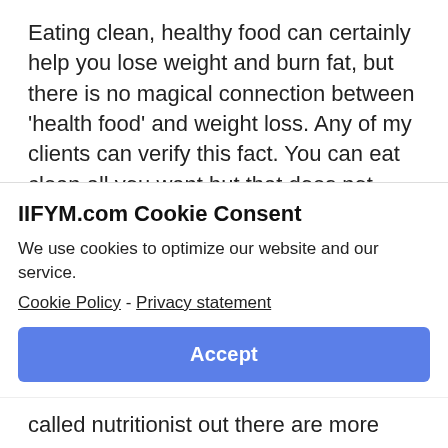Eating clean, healthy food can certainly help you lose weight and burn fat, but there is no magical connection between ‘health food’ and weight loss. Any of my clients can verify this fact. You can eat clean all you want but that does not guarantee fat loss. Especially sustainable fat loss.
IIFYM.com Cookie Consent
We use cookies to optimize our website and our service.
Cookie Policy - Privacy statement
Accept
called nutritionist out there are more